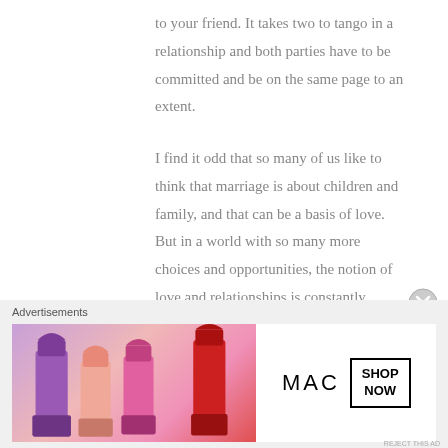to your friend. It takes two to tango in a relationship and both parties have to be committed and be on the same page to an extent.
I find it odd that so many of us like to think that marriage is about children and family, and that can be a basis of love. But in a world with so many more choices and opportunities, the notion of love and relationships is constantly changing.
[Figure (illustration): Close button (X in circle) for dismissing advertisement]
Advertisements
[Figure (photo): MAC cosmetics advertisement banner showing colorful lipsticks on the left side and MAC logo with SHOP NOW button on the right side]